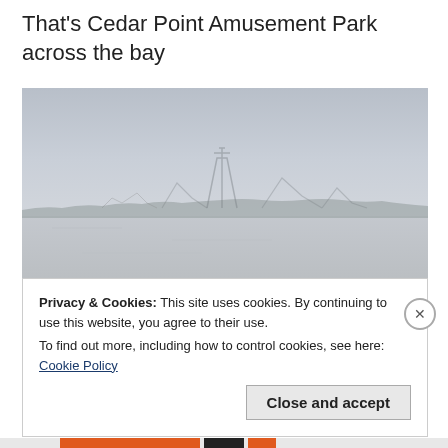That's Cedar Point Amusement Park across the bay
[Figure (photo): A distant view of Cedar Point Amusement Park roller coasters visible across a bay on a hazy, overcast day. The water and sky blend together in muted grey tones, with the silhouettes of roller coaster structures on the horizon.]
Privacy & Cookies: This site uses cookies. By continuing to use this website, you agree to their use.
To find out more, including how to control cookies, see here: Cookie Policy
Close and accept